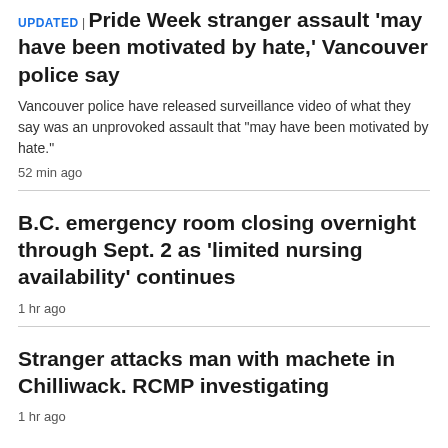UPDATED | Pride Week stranger assault 'may have been motivated by hate,' Vancouver police say
Vancouver police have released surveillance video of what they say was an unprovoked assault that "may have been motivated by hate."
52 min ago
B.C. emergency room closing overnight through Sept. 2 as 'limited nursing availability' continues
1 hr ago
Stranger attacks man with machete in Chilliwack. RCMP investigating
1 hr ago
ATLANTIC >